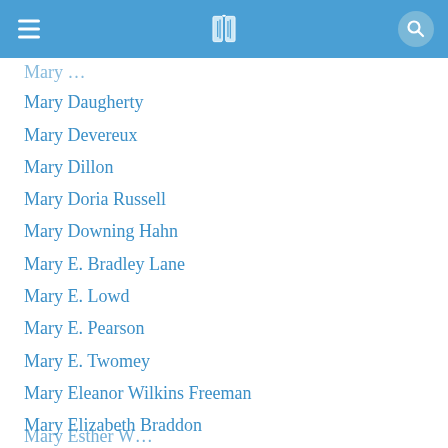Mary Daugherty
Mary Devereux
Mary Dillon
Mary Doria Russell
Mary Downing Hahn
Mary E. Bradley Lane
Mary E. Lowd
Mary E. Pearson
Mary E. Twomey
Mary Eleanor Wilkins Freeman
Mary Elizabeth Braddon
Mary Ellen Chase
Mary Esther Miller MacGregor
Mary Esther Wemyss